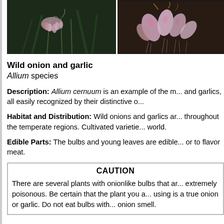[Figure (photo): Photo of wild onion flowers (Allium cernuum) with drooping pink/white blooms against dark green background]
[Figure (photo): Photo of wild garlic bulbs with pink-tinged cloves and roots against dark earth background]
Wild onion and garlic
Allium species
Description: Allium cernuum is an example of the many wild onions and garlics, all easily recognized by their distinctive o...
Habitat and Distribution: Wild onions and garlics are throughout the temperate regions. Cultivated varieties are grown throughout the world.
Edible Parts: The bulbs and young leaves are edible... or to flavor meat.
CAUTION
There are several plants with onionlike bulbs that are extremely poisonous. Be certain that the plant you are using is a true onion or garlic. Do not eat bulbs with... onion smell.